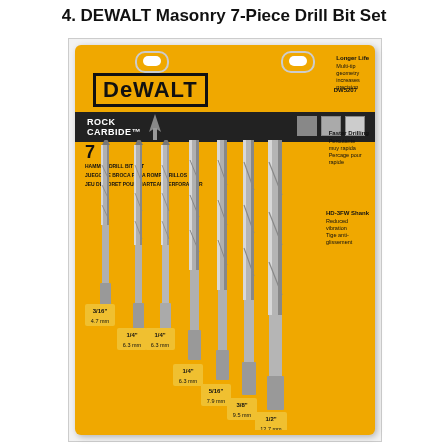4. DEWALT Masonry 7-Piece Drill Bit Set
[Figure (photo): DEWALT Masonry 7-Piece Hammer Drill Bit Set DW5207 product photo showing yellow blister packaging with 7 carbide-tipped masonry drill bits of varying sizes (3/16" 4.7mm, 1/4" 6.3mm x2, 5/16" 7.9mm, 3/8" 9.5mm, 1/2" 12.7mm) with Rock Carbide branding on a black banner, and feature callouts on the right side: Longer Life, Faster Drilling, HD-3FW Shank.]